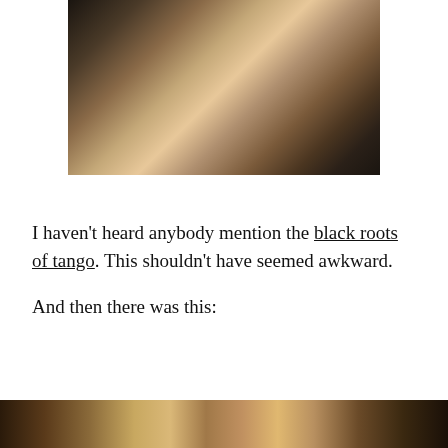[Figure (photo): Two dancers performing tango at a formal event. A woman in a gold sequined dress with her leg raised, embraced by a man in a dark blue suit. Audience seated at tables in the background.]
I haven't heard anybody mention the black roots of tango. This shouldn't have seemed awkward.
And then there was this:
[Figure (photo): Partial photo of people at what appears to be a social event or gathering, shown at the bottom edge of the page.]